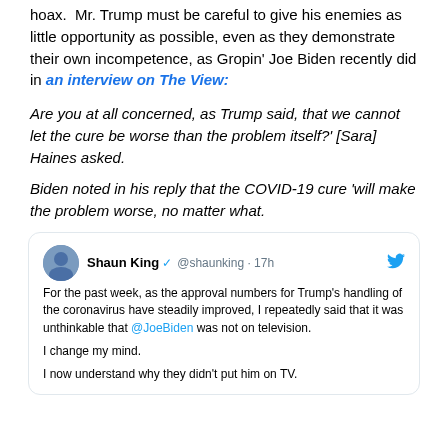hoax.  Mr. Trump must be careful to give his enemies as little opportunity as possible, even as they demonstrate their own incompetence, as Gropin' Joe Biden recently did in an interview on The View:
Are you at all concerned, as Trump said, that we cannot let the cure be worse than the problem itself?' [Sara] Haines asked.
Biden noted in his reply that the COVID-19 cure 'will make the problem worse, no matter what.
[Figure (screenshot): Embedded tweet from Shaun King (@shaunking, 17h): 'For the past week, as the approval numbers for Trump's handling of the coronavirus have steadily improved, I repeatedly said that it was unthinkable that @JoeBiden was not on television. I change my mind. I now understand why they didn't put him on TV.']